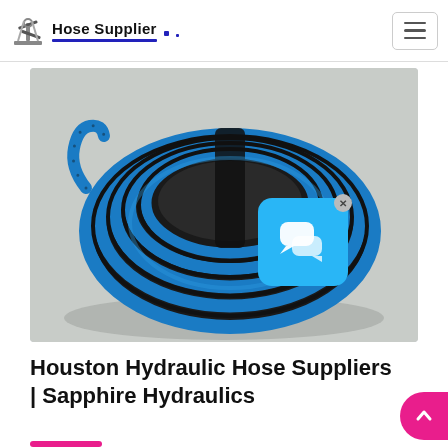Hose Supplier
[Figure (photo): A coil of blue and black hydraulic hose bundled with a black strap, resting on a light grey surface.]
Houston Hydraulic Hose Suppliers | Sapphire Hydraulics